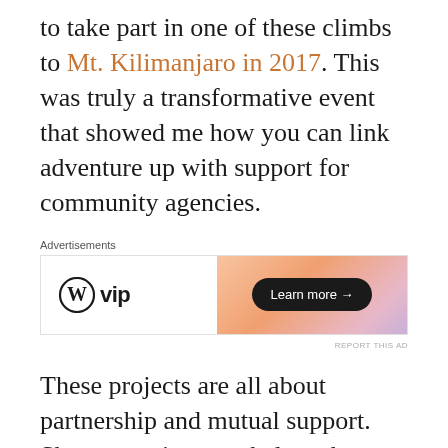to take part in one of these climbs to Mt. Kilimanjaro in 2017. This was truly a transformative event that showed me how you can link adventure up with support for community agencies.
[Figure (other): WordPress VIP advertisement banner with gradient orange-pink background and 'Learn more →' button]
These projects are all about partnership and mutual support. Shawn continues to help us by offering his restaurant Fat Boys as a location for our group fundraisers. He has also helped us with training and is definitely part of our support community.